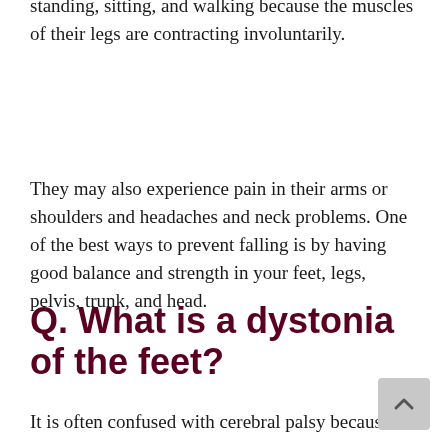However, people with dystonia may have trouble standing, sitting, and walking because the muscles of their legs are contracting involuntarily.
They may also experience pain in their arms or shoulders and headaches and neck problems. One of the best ways to prevent falling is by having good balance and strength in your feet, legs, pelvis, trunk, and head.
Q. What is a dystonia of the feet?
It is often confused with cerebral palsy because